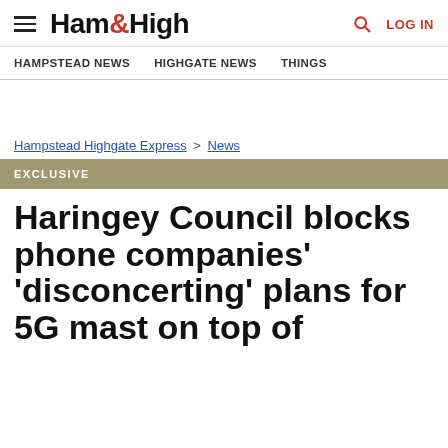Ham&High — LOG IN
HAMPSTEAD NEWS   HIGHGATE NEWS   THINGS
Hampstead Highgate Express > News
EXCLUSIVE
Haringey Council blocks phone companies' 'disconcerting' plans for 5G mast on top of Alexandra Park School